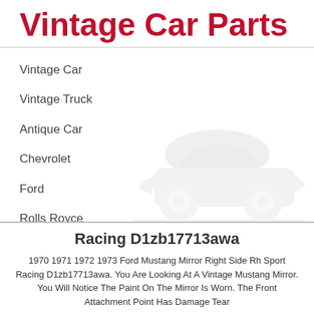Vintage Car Parts
Vintage Car
Vintage Truck
Antique Car
Chevrolet
Ford
Rolls Royce
[Figure (illustration): Faded/watermark silhouette of a vintage car in light gray, partially visible behind navigation items]
Racing D1zb17713awa
1970 1971 1972 1973 Ford Mustang Mirror Right Side Rh Sport Racing D1zb17713awa. You Are Looking At A Vintage Mustang Mirror. You Will Notice The Paint On The Mirror Is Worn. The Front Attachment Point Has Damage Tear